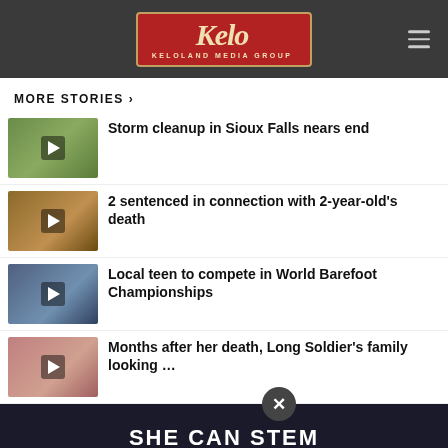KELOLAND Media Group
MORE STORIES ›
Storm cleanup in Sioux Falls nears end
2 sentenced in connection with 2-year-old’s death
Local teen to compete in World Barefoot Championships
Months after her death, Long Soldier’s family looking …
changes name
SHE CAN STEM